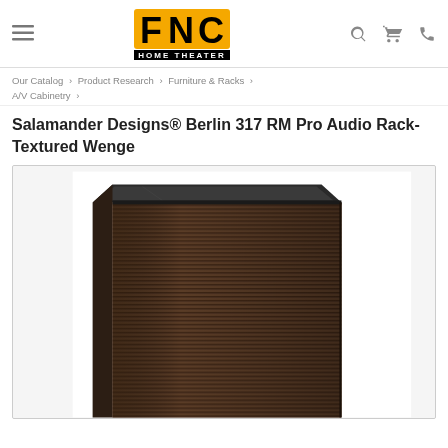FNC Home Theater — navigation header with hamburger menu, logo, search, cart, and phone icons
Our Catalog › Product Research › Furniture & Racks › A/V Cabinetry ›
Salamander Designs® Berlin 317 RM Pro Audio Rack- Textured Wenge
[Figure (photo): Product photo of a dark brown textured wenge audio rack cabinet with a glass top, showing the front panel with horizontal ribbed texture and the dark side panel, photographed at an angle against a white background.]